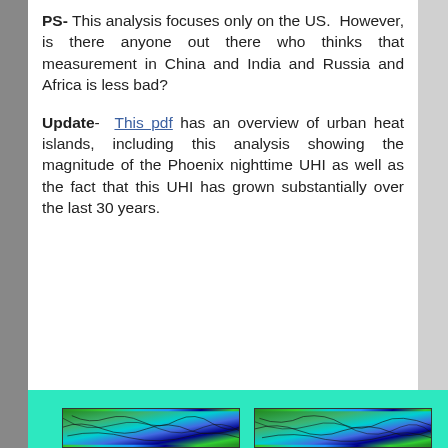PS- This analysis focuses only on the US.  However, is there anyone out there who thinks that measurement in China and India and Russia and Africa is less bad?
Update-  This pdf has an overview of urban heat islands, including this analysis showing the magnitude of the Phoenix nighttime UHI as well as the fact that this UHI has grown substantially over the last 30 years.
[Figure (map): Two side-by-side map images showing urban heat island data, displayed with green, blue, and teal color gradients with contour lines overlaid.]